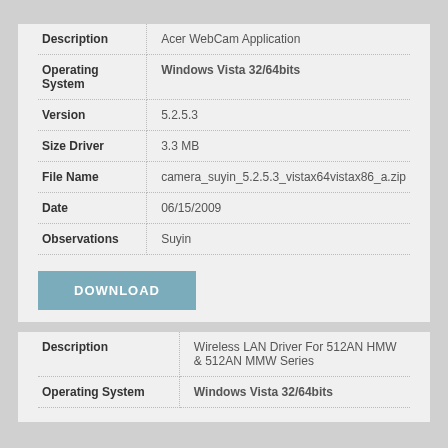| Field | Value |
| --- | --- |
| Description | Acer WebCam Application |
| Operating System | Windows Vista 32/64bits |
| Version | 5.2.5.3 |
| Size Driver | 3.3 MB |
| File Name | camera_suyin_5.2.5.3_vistax64vistax86_a.zip |
| Date | 06/15/2009 |
| Observations | Suyin |
DOWNLOAD
| Field | Value |
| --- | --- |
| Description | Wireless LAN Driver For 512AN HMW & 512AN MMW Series |
| Operating System | Windows Vista 32/64bits |